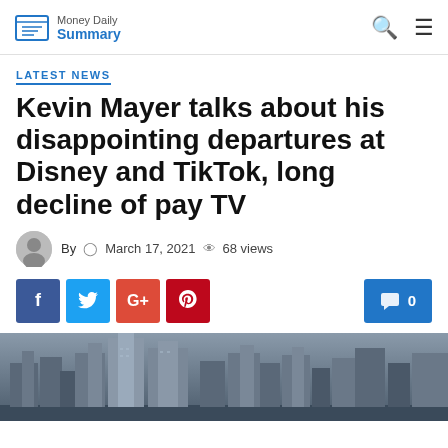Money Daily Summary
LATEST NEWS
Kevin Mayer talks about his disappointing departures at Disney and TikTok, long decline of pay TV
By  March 17, 2021  68 views
[Figure (photo): City skyline with tall office buildings, grey and moody atmosphere]